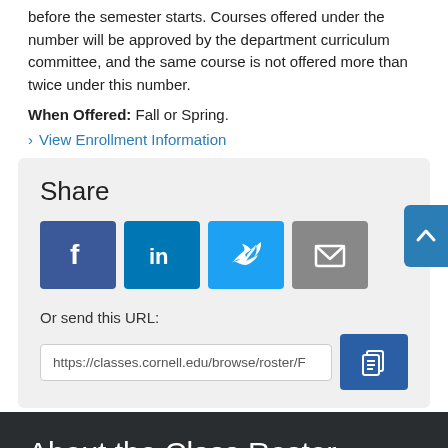before the semester starts. Courses offered under the number will be approved by the department curriculum committee, and the same course is not offered more than twice under this number.
When Offered: Fall or Spring.
View Enrollment Information
Share
[Figure (other): Social sharing icons: Facebook, LinkedIn, Twitter, Email]
Or send this URL:
https://classes.cornell.edu/browse/roster/F
About the Class Roster
The schedule of classes is maintained by the Office of the